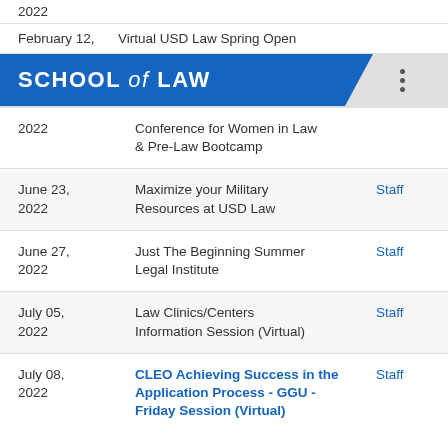2022
February 12,    Virtual USD Law Spring Open
SCHOOL of LAW
| Date | Event | Who |
| --- | --- | --- |
| 2022 | Conference for Women in Law & Pre-Law Bootcamp |  |
| June 23,
2022 | Maximize your Military Resources at USD Law | Staff |
| June 27,
2022 | Just The Beginning Summer Legal Institute | Staff |
| July 05,
2022 | Law Clinics/Centers Information Session (Virtual) | Staff |
| July 08,
2022 | CLEO Achieving Success in the Application Process - GGU - Friday Session (Virtual) | Staff |